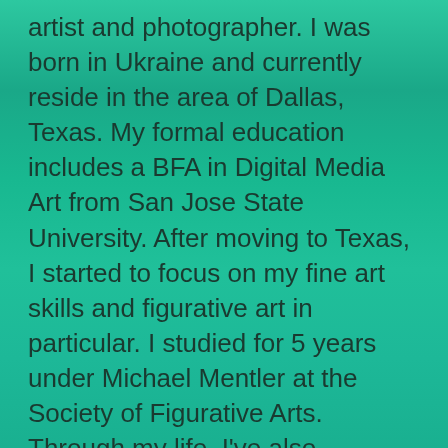artist and photographer. I was born in Ukraine and currently reside in the area of Dallas, Texas. My formal education includes a BFA in Digital Media Art from San Jose State University. After moving to Texas, I started to focus on my fine art skills and figurative art in particular. I studied for 5 years under Michael Mentler at the Society of Figurative Arts. Through my life, I've also acquired a multitude of skills that include web development, sculpting, photography, art studio and business management, and baking awesome blueberry scones! I've been trying to fully devote myself to the art over the past few years. I'm trying to learn and practice as much as I can. However, the workshop, class, and art supply costs present a certain financial challenge. If you like my work and want to support me, I would truly appreciate it! I have a shop full of artworks and creations, but even just sharing my art or social media pages would help a lot. Thank